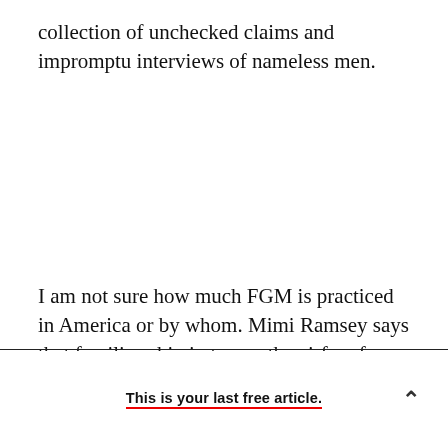collection of unchecked claims and impromptu interviews of nameless men.
I am not sure how much FGM is practiced in America or by whom. Mimi Ramsey says that families chip in to pay the airfare for a traditional
This is your last free article.